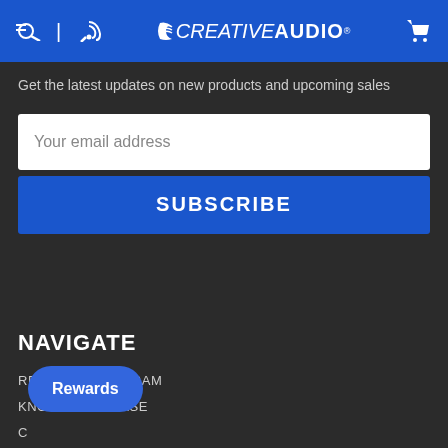CREATIVE AUDIO
Get the latest updates on new products and upcoming sales
Your email address
SUBSCRIBE
NAVIGATE
REWARDS PROGRAM
KNOWLEDGE BASE
C
S          O
RETURNS
Rewards